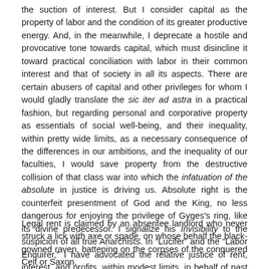the suction of interest. But I consider capital as the property of labor and the condition of its greater productive energy. And, in the meanwhile, I deprecate a hostile and provocative tone towards capital, which must disincline it toward practical conciliation with labor in their common interest and that of society in all its aspects. There are certain abusers of capital and other privileges for whom I would gladly translate the sic iter ad astra in a practical fashion, but regarding personal and corporative property as essentials of social well-being, and their inequality, within pretty wide limits, as a necessary consequence of the differences in our ambitions, and the inequality of our faculties, I would save property from the destructive collision of that class war into which the infatuation of the absolute in justice is driving us. Absolute right is the counterfeit presentment of God and the King, no less dangerous for enjoying the privilege of Gyges's ring, like its divine predecessor. I signalize his Invisibility to the suspicion of all true Anarchists. In “Lucifer” and the “Labor Enquirer,” I have advocated the relative justice of rent, interest, and profits, within modest limits, in behalf of past labor and its personal identity with capital.
Legal rent is claimed by an absentee landlord who never struck a lick with axe or spade, on whose behalf the black-gowned raven, battening on the corpses of the conquered Celt or Saxon,